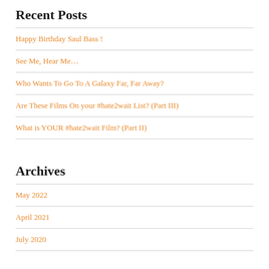Recent Posts
Happy Birthday Saul Bass !
See Me, Hear Me…
Who Wants To Go To A Galaxy Far, Far Away?
Are These Films On your #hate2wait List? (Part III)
What is YOUR #hate2wait Film? (Part II)
Archives
May 2022
April 2021
July 2020